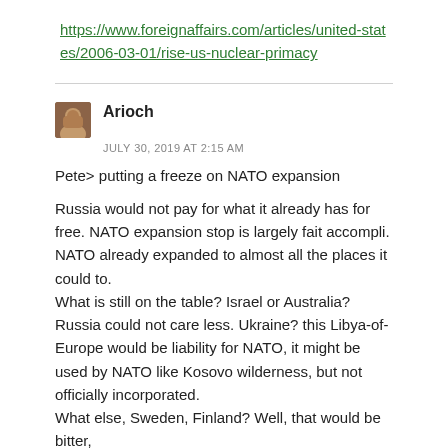https://www.foreignaffairs.com/articles/united-states/2006-03-01/rise-us-nuclear-primacy
Arioch
JULY 30, 2019 AT 2:15 AM
Pete> putting a freeze on NATO expansion

Russia would not pay for what it already has for free. NATO expansion stop is largely fait accompli. NATO already expanded to almost all the places it could to. What is still on the table? Israel or Australia? Russia could not care less. Ukraine? this Libya-of-Europe would be liability for NATO, it might be used by NATO like Kosovo wilderness, but not officially incorporated. What else, Sweden, Finland? Well, that would be bitter, of course, but – well it really be that bad for Russia i…